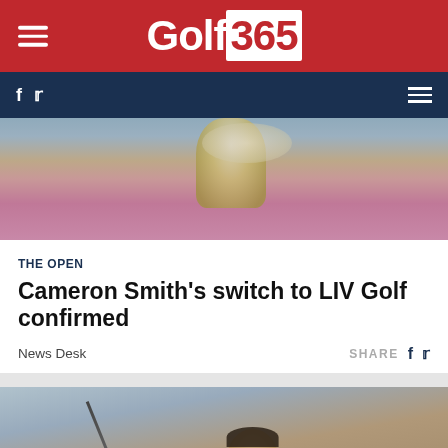Golf365
[Figure (photo): Golfer holding trophy, wearing pink patterned shirt with easypost logo]
THE OPEN
Cameron Smith's switch to LIV Golf confirmed
News Desk
[Figure (photo): Male golfer with dark hair holding a golf club on a course]